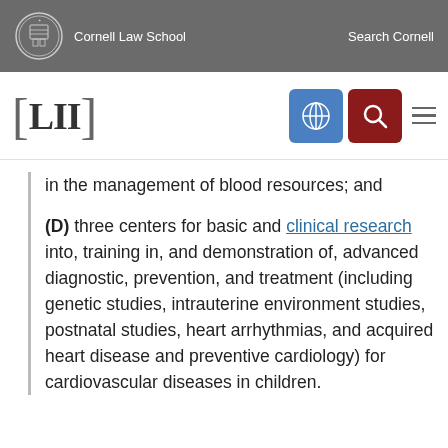Cornell Law School | Search Cornell
[LII]
in the management of blood resources; and
(D) three centers for basic and clinical research into, training in, and demonstration of, advanced diagnostic, prevention, and treatment (including genetic studies, intrauterine environment studies, postnatal studies, heart arrhythmias, and acquired heart disease and preventive cardiology) for cardiovascular diseases in children.